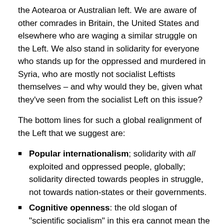the Aotearoa or Australian left. We are aware of other comrades in Britain, the United States and elsewhere who are waging a similar struggle on the Left. We also stand in solidarity for everyone who stands up for the oppressed and murdered in Syria, who are mostly not socialist Leftists themselves – and why would they be, given what they've seen from the socialist Left on this issue?
The bottom lines for such a global realignment of the Left that we suggest are:
Popular internationalism; solidarity with all exploited and oppressed people, globally; solidarity directed towards peoples in struggle, not towards nation-states or their governments.
Cognitive openness: the old slogan of "scientific socialism" in this era cannot mean the dogmatic,